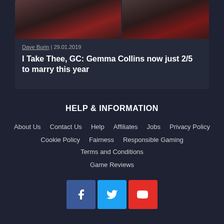[Figure (photo): Two photos side by side of people on a red carpet event, showing figures in formal/evening wear]
Dave Burin | 29.01.2019
I Take Thee, GC: Gemma Collins now just 2/5 to marry this year
HELP & INFORMATION
About Us
Contact Us
Help
Affiliates
Jobs
Privacy Policy
Cookie Policy
Fairness
Responsible Gaming
Terms and Conditions
Game Reviews
[Figure (logo): Social media icons: Facebook (blue), Twitter (light blue), YouTube (red)]